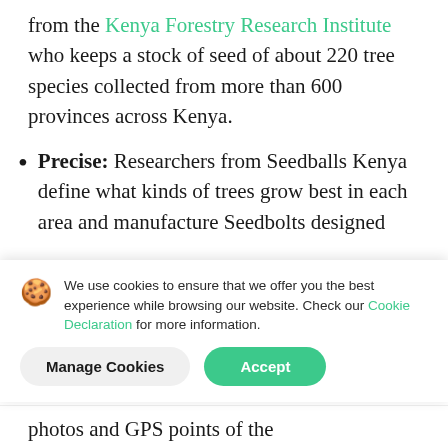from the Kenya Forestry Research Institute who keeps a stock of seed of about 220 tree species collected from more than 600 provinces across Kenya.
Precise: Researchers from Seedballs Kenya define what kinds of trees grow best in each area and manufacture Seedbolts designed
We use cookies to ensure that we offer you the best experience while browsing our website. Check our Cookie Declaration for more information.
photos and GPS points of the